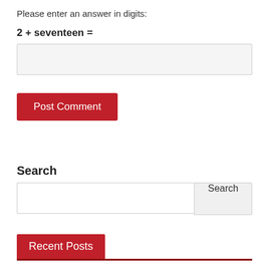Please enter an answer in digits:
[input box]
Post Comment
Search
[search input] Search
Recent Posts
Destiny 2 How to Complete Expedition Cosmodrome
Destiny 2 Throne World Lost Sectors Locations & Map